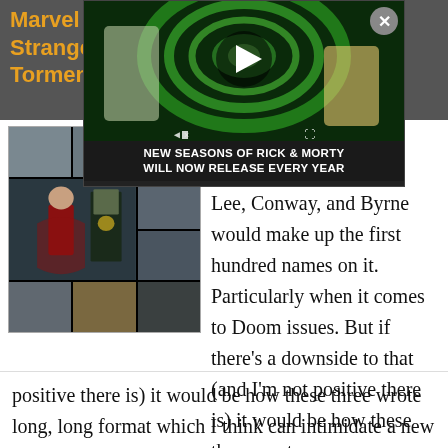Marvel G... for Strange a... Torment ...pla
[Figure (screenshot): Rick and Morty animated advertisement overlay with play button and green portal swirl background, showing text 'NEW SEASONS OF RICK & MORTY WILL NOW RELEASE EVERY YEAR']
[Figure (illustration): Comic book panels showing Doctor Strange and Doctor Doom in dark dramatic scenes with speech bubbles]
an FF hall of fame list, I think it's safe to say that Lee, Conway, and Byrne would make up the first hundred names on it. Particularly when it comes to Doom issues. But if there's a downside to that (and I'm not positive there is) it would be how these three wrote long, long format which I think can intimidate a new
positive there is) it would be how these three wrote long, long format which I think can intimidate a new